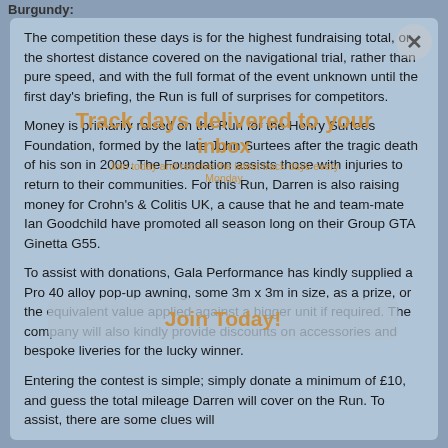Burgundy:
The competition these days is for the highest fundraising total, or the shortest distance covered on the navigational trial, rather than pure speed, and with the full format of the event unknown until the first day's briefing, the Run is full of surprises for competitors.
Money is primarily raised on the Run for the Henry Surtees Foundation, formed by the late John Surtees after the tragic death of his son in 2009. The Foundation assists those with injuries to return to their communities. For this Run, Darren is also raising money for Crohn's & Colitis UK, a cause that he and team-mate Ian Goodchild have promoted all season long on their Group GTA Ginetta G55.
To assist with donations, Gala Performance has kindly supplied a Pro 40 alloy pop-up awning, some 3m x 3m in size, as a prize, or the equivalent value applied against a bigger unit if required. The company will also kindly provide discounts on accessories and bespoke liveries for the lucky winner.
Entering the contest is simple; simply donate a minimum of £10, and guess the total mileage Darren will cover on the Run. To assist, there are some clues will